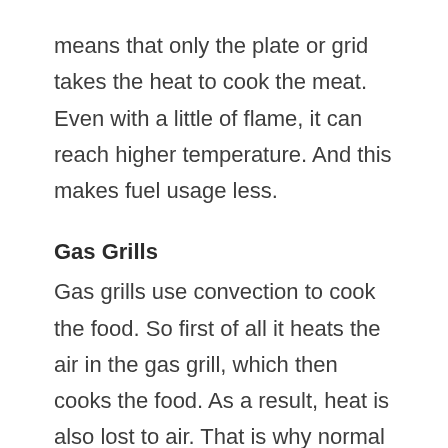means that only the plate or grid takes the heat to cook the meat. Even with a little of flame, it can reach higher temperature. And this makes fuel usage less.
Gas Grills
Gas grills use convection to cook the food. So first of all it heats the air in the gas grill, which then cooks the food. As a result, heat is also lost to air. That is why normal gas grills have a higher fuel usage.